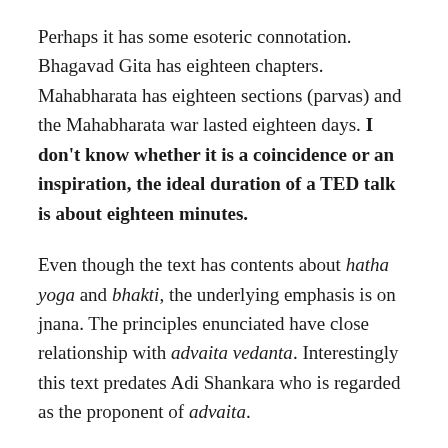Perhaps it has some esoteric connotation. Bhagavad Gita has eighteen chapters. Mahabharata has eighteen sections (parvas) and the Mahabharata war lasted eighteen days. I don't know whether it is a coincidence or an inspiration, the ideal duration of a TED talk is about eighteen minutes.
Even though the text has contents about hatha yoga and bhakti, the underlying emphasis is on jnana. The principles enunciated have close relationship with advaita vedanta. Interestingly this text predates Adi Shankara who is regarded as the proponent of advaita.
Yogavashistha does not go into high philosophical debates or tries to probe things from the perspectives of intellectuals who are capable of understating the jargons